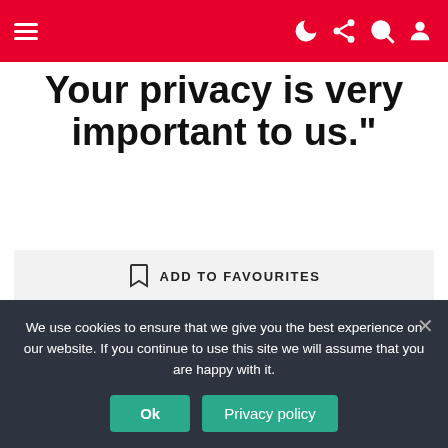Navigation bar with hamburger menu and icons
Your privacy is very important to us.”
ADD TO FAVOURITES
Next article
History of Windows folders
#CYBER SECURITY #FREEDOM #LIFE #PRIVACY
We use cookies to ensure that we give you the best experience on our website. If you continue to use this site we will assume that you are happy with it.